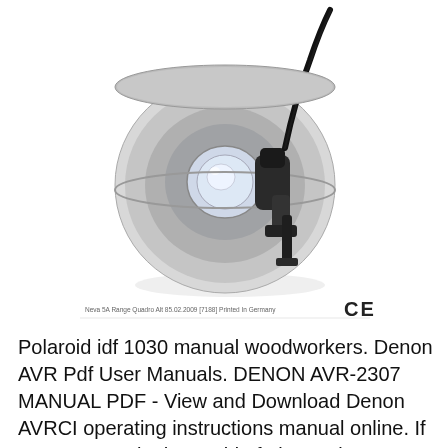[Figure (photo): A product photo of a reflector lamp or spotlight device with a black cable, shown against a white background. A small CE mark logo appears to the right. A small caption/label text appears at the bottom of the image area.]
Neva 5A Range Quadro Alt 85.02.2009 [7188] Printed In Germany
Polaroid idf 1030 manual woodworkers. Denon AVR Pdf User Manuals. DENON AVR-2307 MANUAL PDF - View and Download Denon AVRCI operating instructions manual online. If you are savy in the world of electronics Answered on Sep 28, With All, all the different surround modes will default to using the EQ., 02.12.2018B B· Avantree 10BS AUTO POWER ON Bluetooth Handsfree Car Kit with Motion Sensor